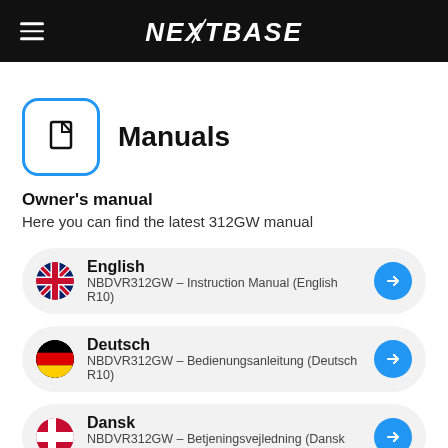NEXTBASE
[Figure (logo): Manuals section icon — document/book icon in a blue rounded square border]
Manuals
Owner's manual
Here you can find the latest 312GW manual
English
NBDVR312GW – Instruction Manual (English R10)
Deutsch
NBDVR312GW – Bedienungsanleitung (Deutsch R10)
Dansk
NBDVR312GW – Betjeningsvejledning (Dansk R10)